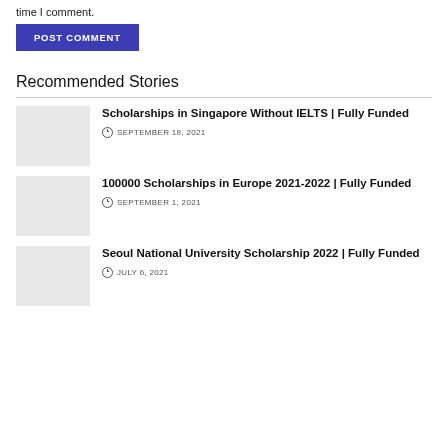time I comment.
POST COMMENT
Recommended Stories
Scholarships in Singapore Without IELTS | Fully Funded
SEPTEMBER 18, 2021
100000 Scholarships in Europe 2021-2022 | Fully Funded
SEPTEMBER 1, 2021
Seoul National University Scholarship 2022 | Fully Funded
JULY 6, 2021